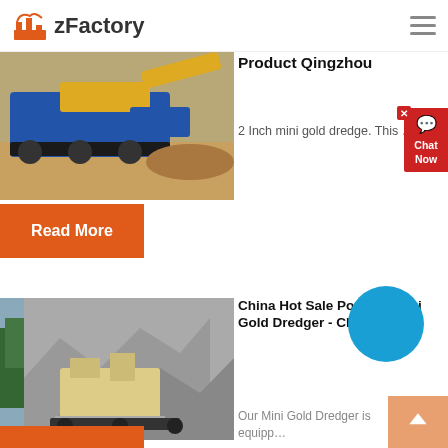zFactory
[Figure (photo): Mining/construction equipment on a sandy excavation site with blue and yellow machinery]
Product Qingzhou
2 Inch mini gold dredge. This ...
Read More
[Figure (photo): Stone quarry scene with a large crushing machine and rock debris in a mountainous area]
China Hot Sale Portable Mini Gold Dredger - China Mini ...
Our Mini Gold Dredger is equipp...